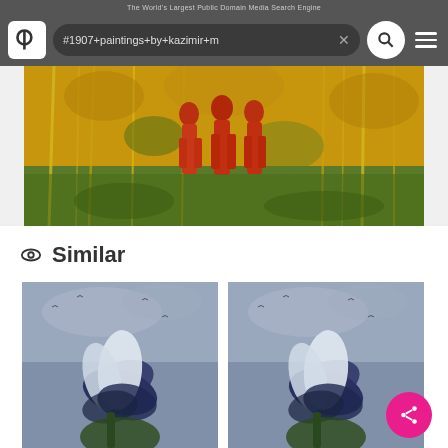The World's Largest Public Domain Media Search Engine
#1907+paintings+by+kazimir+m
[Figure (photo): Painting showing red figures (nude people) standing in a forest with orange and green tones, by Kazimir Malevich, 1907]
Similar
[Figure (photo): Two similar thumbnail images side by side showing a painting of a dark blue/purple iris flower against a blue-grey sky background]
Share button (pink circular button with share icon)